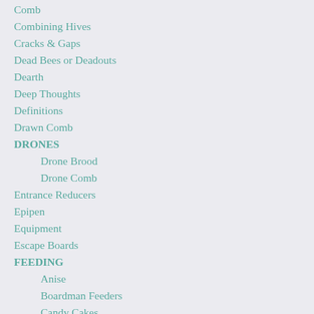Comb
Combining Hives
Cracks & Gaps
Dead Bees or Deadouts
Dearth
Deep Thoughts
Definitions
Drawn Comb
DRONES
Drone Brood
Drone Comb
Entrance Reducers
Epipen
Equipment
Escape Boards
FEEDING
Anise
Boardman Feeders
Candy Cakes
Cow Vetch
Dry Sugar
Frame Feeders
Hive Top Feeders